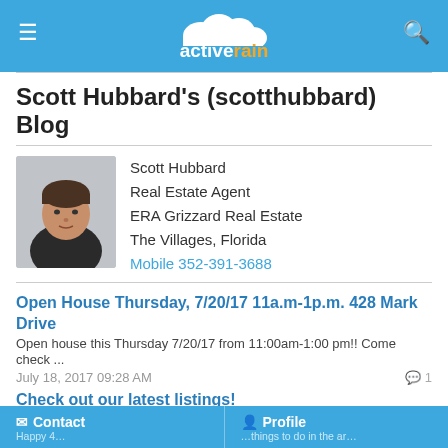activerain
Scott Hubbard's (scotthubbard) Blog
[Figure (photo): Headshot of Scott Hubbard, a man in a dark shirt]
Scott Hubbard
Real Estate Agent
ERA Grizzard Real Estate
The Villages, Florida
Mobile 352-391-3688
Open House Thursday, 7/20/17 11a.m-1p.m. 428 Mark Drive
Open house this Thursday 7/20/17 from 11:00am-1:00 pm!! Come check ...
July 18, 2017 09:28 AM
Check out our latest listings!
July 18, 2017 08:21 AM
Just Sold!!! 1610 Malacara Lane, The Villages! $201,000
3/2  Amarillo Style Home in the Village of Alhambra Only a Golf Car...
July 11, 2017 07:13 AM
Contact   Profile